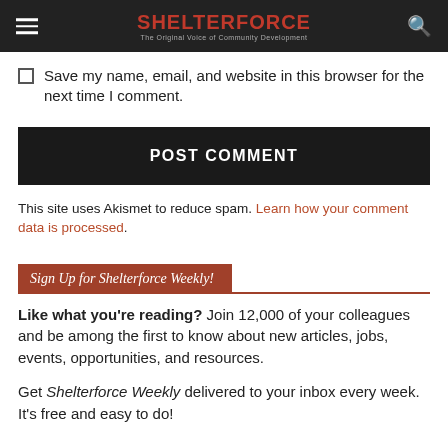SHELTERFORCE — The Original Voice of Community Development
Save my name, email, and website in this browser for the next time I comment.
POST COMMENT
This site uses Akismet to reduce spam. Learn how your comment data is processed.
Sign Up for Shelterforce Weekly!
Like what you're reading? Join 12,000 of your colleagues and be among the first to know about new articles, jobs, events, opportunities, and resources.
Get Shelterforce Weekly delivered to your inbox every week. It's free and easy to do!